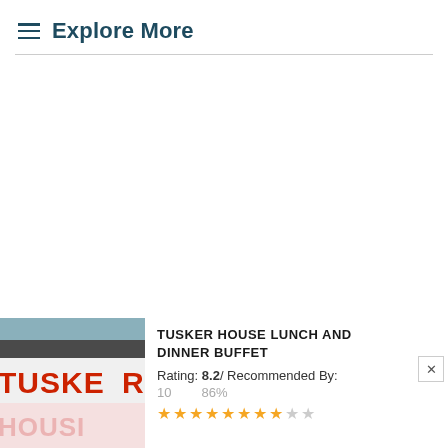Explore More
[Figure (photo): Tusker House restaurant sign showing partial text 'TUSKER' in red bold letters on white background, with reflection text 'HOUSI' below in pink]
TUSKER HOUSE LUNCH AND DINNER BUFFET
Rating: 8.2 / Recommended By:
10   86%
[Figure (other): Star rating display showing approximately 8 out of 10 gold stars, with 2 empty/gray stars]